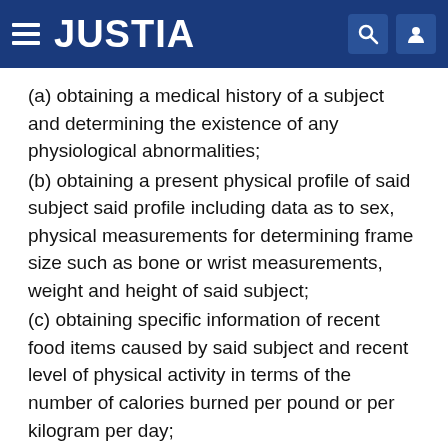JUSTIA
(a) obtaining a medical history of a subject and determining the existence of any physiological abnormalities;
(b) obtaining a present physical profile of said subject said profile including data as to sex, physical measurements for determining frame size such as bone or wrist measurements, weight and height of said subject;
(c) obtaining specific information of recent food items caused by said subject and recent level of physical activity in terms of the number of calories burned per pound or per kilogram per day;
(d) entering data obtained from steps (a)-(c) into a computer for comparison with predetermined standards of food consumption given a specified sex, frame size, weight, height and said recent level